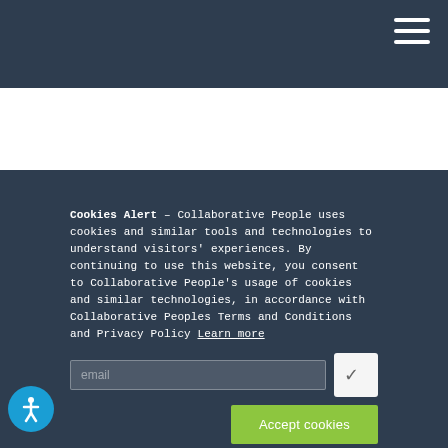Navigation bar with hamburger menu
Cookies Alert – Collaborative People uses cookies and similar tools and technologies to understand visitors' experiences. By continuing to use this website, you consent to Collaborative People's usage of cookies and similar technologies, in accordance with Collaborative Peoples Terms and Conditions and Privacy Policy Learn more
Accept cookies